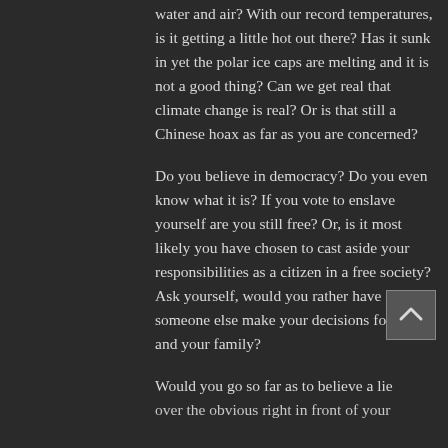water and air? With our record temperatures, is it getting a little hot out there? Has it sunk in yet the polar ice caps are melting and it is not a good thing? Can we get real that climate change is real? Or is that still a Chinese hoax as far as you are concerned?
Do you believe in democracy? Do you even know what it is? If you vote to enslave yourself are you still free? Or, is it most likely you have chosen to cast aside your responsibilities as a citizen in a free society? Ask yourself, would you rather have someone else make your decisions for you and your family?
Would you go so far as to believe a lie over the obvious right in front of your